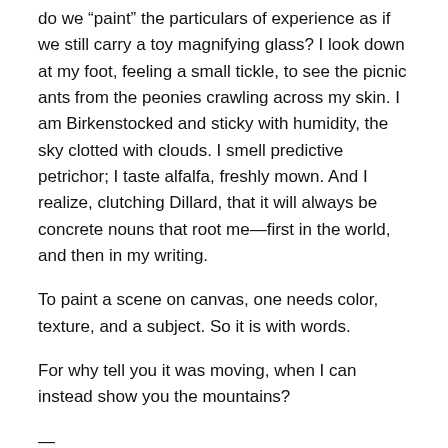do we “paint” the particulars of experience as if we still carry a toy magnifying glass? I look down at my foot, feeling a small tickle, to see the picnic ants from the peonies crawling across my skin. I am Birkenstocked and sticky with humidity, the sky clotted with clouds. I smell predictive petrichor; I taste alfalfa, freshly mown. And I realize, clutching Dillard, that it will always be concrete nouns that root me—first in the world, and then in my writing.
To paint a scene on canvas, one needs color, texture, and a subject. So it is with words.
For why tell you it was moving, when I can instead show you the mountains?
—
Brittany R. Collins has written for English